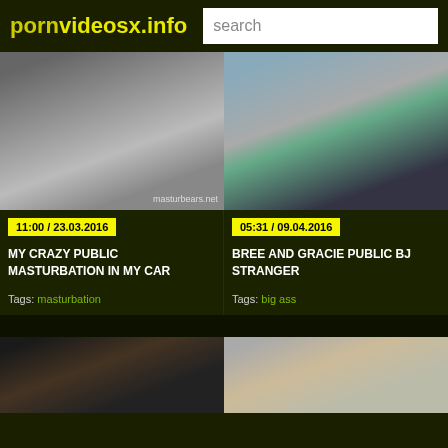pornvideosx.info
[Figure (screenshot): Video thumbnail 1: MY CRAZY PUBLIC MASTURBATION IN MY CAR, 11:00 / 23.03.2016]
[Figure (screenshot): Video thumbnail 2: BREE AND GRACIE PUBLIC BJ STRANGER, 05:31 / 09.04.2016]
11:00 / 23.03.2016
05:31 / 09.04.2016
MY CRAZY PUBLIC MASTURBATION IN MY CAR
BREE AND GRACIE PUBLIC BJ STRANGER
Tags: masturbation
Tags: big ass
[Figure (screenshot): Video thumbnail 3: partial view at bottom left]
[Figure (screenshot): Video thumbnail 4: partial view at bottom right]